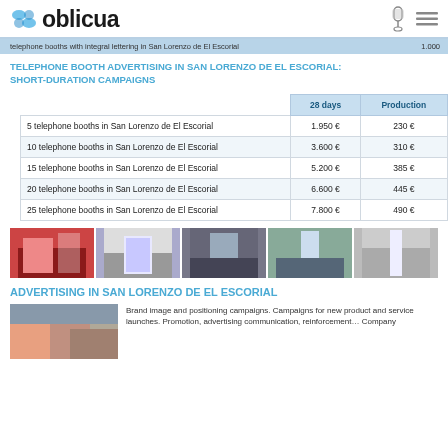oblicua
telephone booths with integral lettering in San Lorenzo de El Escorial  1.000
TELEPHONE BOOTH ADVERTISING IN SAN LORENZO DE EL ESCORIAL: SHORT-DURATION CAMPAIGNS
|  | 28 days | Production |
| --- | --- | --- |
| 5 telephone booths in San Lorenzo de El Escorial | 1.950 € | 230 € |
| 10 telephone booths in San Lorenzo de El Escorial | 3.600 € | 310 € |
| 15 telephone booths in San Lorenzo de El Escorial | 5.200 € | 385 € |
| 20 telephone booths in San Lorenzo de El Escorial | 6.600 € | 445 € |
| 25 telephone booths in San Lorenzo de El Escorial | 7.800 € | 490 € |
[Figure (photo): Strip of 4 photos showing telephone booth advertising installations in urban settings]
ADVERTISING IN SAN LORENZO DE EL ESCORIAL
[Figure (photo): Photo of people walking in urban area]
Brand image and positioning campaigns. Campaigns for new product and service launches. Promotion, advertising communication, reinforcement… Company